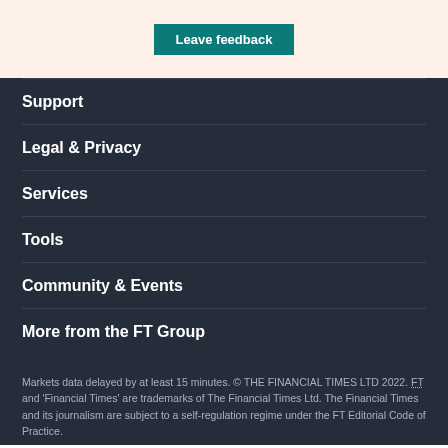[Figure (other): Leave feedback button on a light peach/cream background]
Support
Legal & Privacy
Services
Tools
Community & Events
More from the FT Group
Markets data delayed by at least 15 minutes. © THE FINANCIAL TIMES LTD 2022. FT and 'Financial Times' are trademarks of The Financial Times Ltd. The Financial Times and its journalism are subject to a self-regulation regime under the FT Editorial Code of Practice.